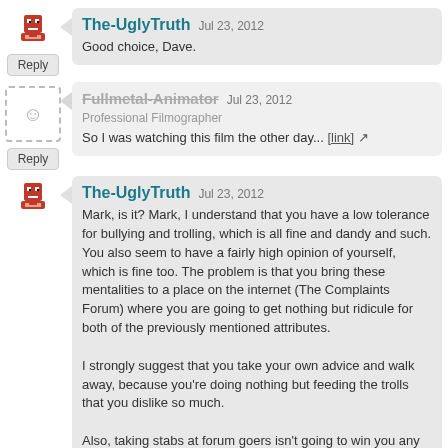The-UglyTruth  Jul 23, 2012
Good choice, Dave.
Reply
Fullmetal-Animator  Jul 23, 2012
Professional Filmographer
So I was watching this film the other day... [link]
Reply
The-UglyTruth  Jul 23, 2012
Mark, is it? Mark, I understand that you have a low tolerance for bullying and trolling, which is all fine and dandy and such. You also seem to have a fairly high opinion of yourself, which is fine too. The problem is that you bring these mentalities to a place on the internet (The Complaints Forum) where you are going to get nothing but ridicule for both of the previously mentioned attributes.

I strongly suggest that you take your own advice and walk away, because you're doing nothing but feeding the trolls that you dislike so much.

Also, taking stabs at forum goers isn't going to win you any